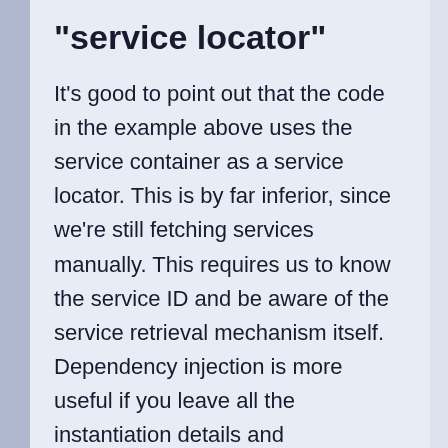"service locator"
It's good to point out that the code in the example above uses the service container as a service locator. This is by far inferior, since we're still fetching services manually. This requires us to know the service ID and be aware of the service retrieval mechanism itself. Dependency injection is more useful if you leave all the instantiation details and dependency resolving to the service container (also known as "dependency injection container") itself.